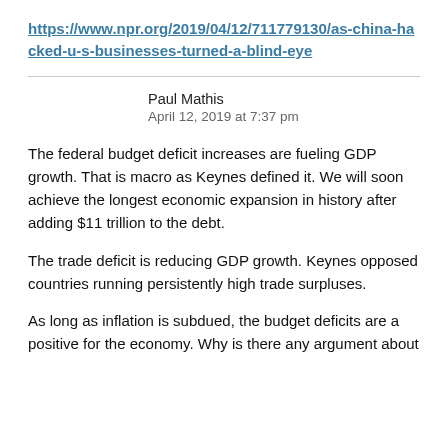https://www.npr.org/2019/04/12/711779130/as-china-hacked-u-s-businesses-turned-a-blind-eye
Paul Mathis
April 12, 2019 at 7:37 pm
The federal budget deficit increases are fueling GDP growth. That is macro as Keynes defined it. We will soon achieve the longest economic expansion in history after adding $11 trillion to the debt.
The trade deficit is reducing GDP growth. Keynes opposed countries running persistently high trade surpluses.
As long as inflation is subdued, the budget deficits are a positive for the economy. Why is there any argument about